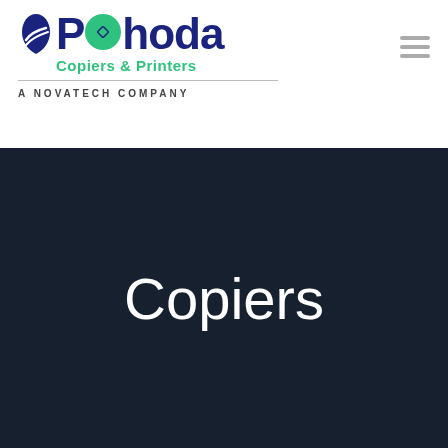[Figure (logo): Pahoda Copiers & Printers logo with leaf icon, green circle with diamond, dark blue text, and green subtitle]
A NOVATECH COMPANY
Copiers